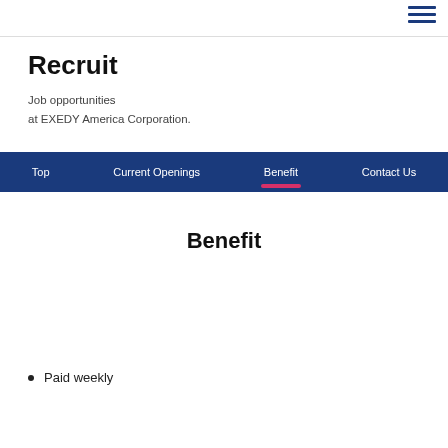Recruit
Job opportunities
at EXEDY America Corporation.
Top  Current Openings  Benefit  Contact Us
Benefit
Paid weekly